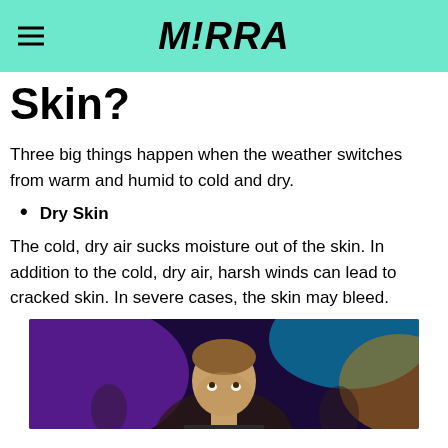M!RRA
Skin?
Three big things happen when the weather switches from warm and humid to cold and dry.
Dry Skin
The cold, dry air sucks moisture out of the skin. In addition to the cold, dry air, harsh winds can lead to cracked skin. In severe cases, the skin may bleed.
[Figure (photo): A man looking upward in a colorful bar or club setting with neon lights in the background.]